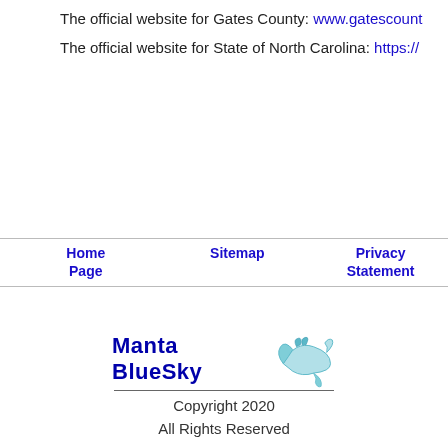The official website for Gates County: www.gatescounty...
The official website for State of North Carolina: https://...
Home Page | Sitemap | Privacy Statement
[Figure (logo): Manta BlueSky logo with stylized manta ray graphic in teal/light blue]
Copyright 2020
All Rights Reserved